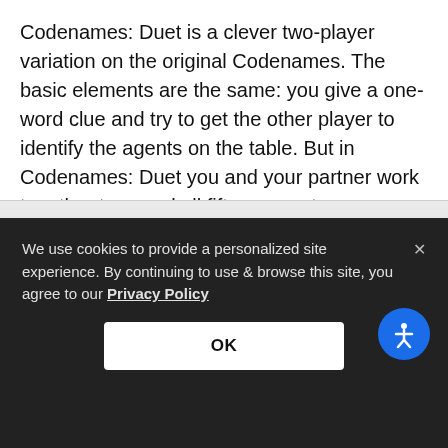Codenames: Duet is a clever two-player variation on the original Codenames. The basic elements are the same: you give a one-word clue and try to get the other player to identify the agents on the table. But in Codenames: Duet you and your partner work together to reveal all fifteen agents.
[Figure (photo): Partially visible product image with light gray gradient background]
We use cookies to provide a personalized site experience. By continuing to use & browse this site, you agree to our Privacy Policy
OK